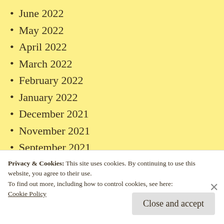June 2022
May 2022
April 2022
March 2022
February 2022
January 2022
December 2021
November 2021
September 2021
August 2021
July 2021
Privacy & Cookies: This site uses cookies. By continuing to use this website, you agree to their use.
To find out more, including how to control cookies, see here:
Cookie Policy